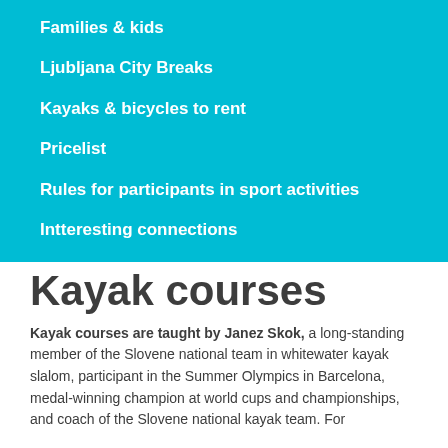Families & kids
Ljubljana City Breaks
Kayaks & bicycles to rent
Pricelist
Rules for participants in sport activities
Intteresting connections
Kayak courses
Kayak courses are taught by Janez Skok, a long-standing member of the Slovene national team in whitewater kayak slalom, participant in the Summer Olympics in Barcelona, medal-winning champion at world cups and championships, and coach of the Slovene national kayak team. For